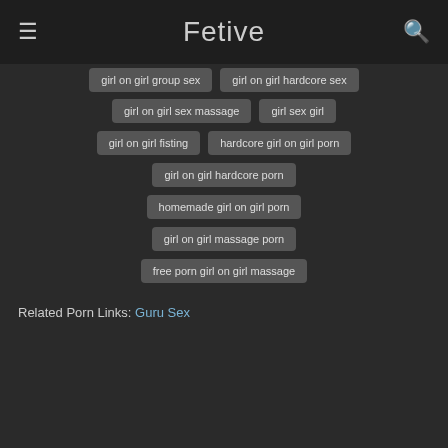Fetive
girl on girl group sex
girl on girl hardcore sex
girl on girl sex massage
girl sex girl
girl on girl fisting
hardcore girl on girl porn
girl on girl hardcore porn
homemade girl on girl porn
girl on girl massage porn
free porn girl on girl massage
Related Porn Links: Guru Sex